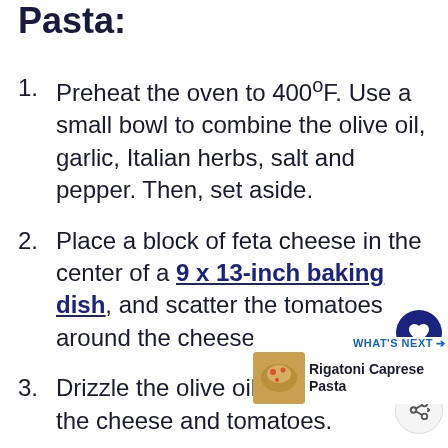How to Make Baked Feta Pasta:
Preheat the oven to 400°F. Use a small bowl to combine the olive oil, garlic, Italian herbs, salt and pepper. Then, set aside.
Place a block of feta cheese in the center of a 9 x 13-inch baking dish, and scatter the tomatoes around the cheese.
Drizzle the olive oil mixture over the cheese and tomatoes.
Bake for 20-30 minutes until the cheese